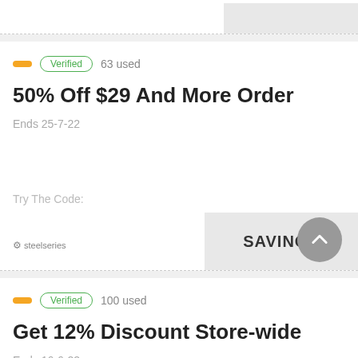[Figure (other): Partial coupon card at top with gray code box visible]
Verified | 63 used
50% Off $29 And More Order
Ends 25-7-22
Try The Code: SAVINGS
steelseries
Verified | 100 used
Get 12% Discount Store-wide
Ends 16-6-22
Try The Code: KRYPTIX12
steelseries
Verified | 30 used